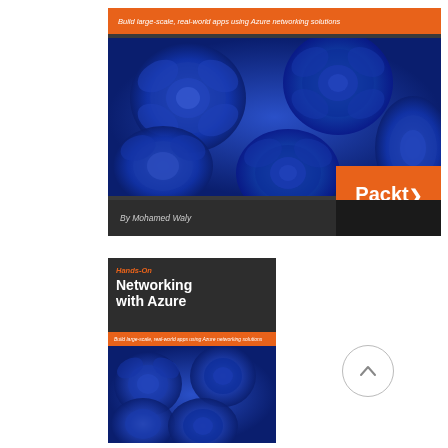[Figure (illustration): Book cover for 'Hands-On Networking with Azure' by Mohamed Waly. Published by Packt. Cover shows blue roses image. Orange banner at top reads 'Build large-scale, real-world apps using Azure networking solutions'. Packt logo in orange box at bottom right. Author name at bottom left on dark strip.]
[Figure (illustration): Thumbnail of same book cover showing title 'Hands-On Networking with Azure' in white bold text on dark background, with orange 'Hands-On' label and blue roses in lower portion.]
[Figure (illustration): Scroll-to-top button: circular button with upward-pointing chevron arrow.]